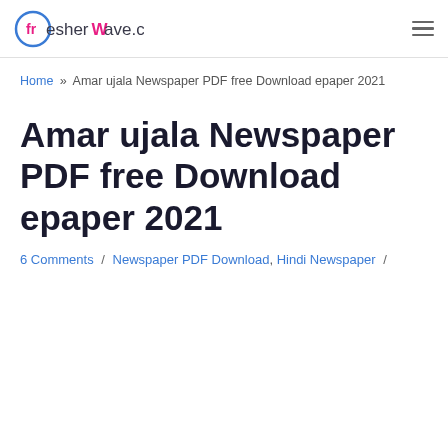fresherwave.com
Home » Amar ujala Newspaper PDF free Download epaper 2021
Amar ujala Newspaper PDF free Download epaper 2021
6 Comments / Newspaper PDF Download, Hindi Newspaper /